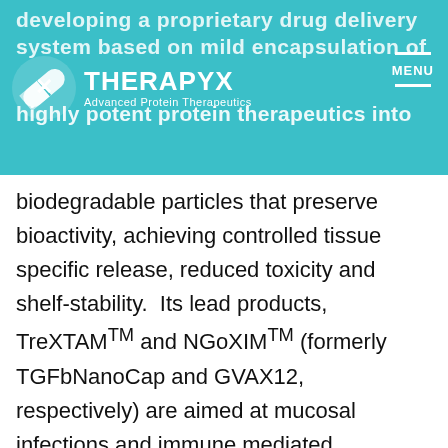developing a proprietary drug delivery system based on mild encapsulation of highly potent protein therapeutics into
[Figure (logo): Therapyx logo with capsule icon and text 'THERAPYX Advanced Protein Therapeutics']
biodegradable particles that preserve bioactivity, achieving controlled tissue specific release, reduced toxicity and shelf-stability. Its lead products, TreXTAM™ and NGoXIM™ (formerly TGFbNanoCap and GVAX12, respectively) are aimed at mucosal infections and immune mediated inflammatory diseases, respectively. The company also has a deep pipeline of discovery stage products, including PCX12™, FAPXIL™ and TPX-EGCG that will soon progress into